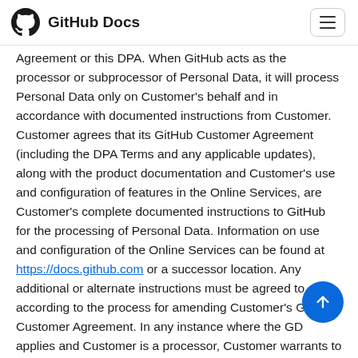GitHub Docs
Agreement or this DPA. When GitHub acts as the processor or subprocessor of Personal Data, it will process Personal Data only on Customer's behalf and in accordance with documented instructions from Customer. Customer agrees that its GitHub Customer Agreement (including the DPA Terms and any applicable updates), along with the product documentation and Customer's use and configuration of features in the Online Services, are Customer's complete documented instructions to GitHub for the processing of Personal Data. Information on use and configuration of the Online Services can be found at https://docs.github.com or a successor location. Any additional or alternate instructions must be agreed to according to the process for amending Customer's GitHub Customer Agreement. In any instance where the GD applies and Customer is a processor, Customer warrants to GitHub that Customer's instructions, including